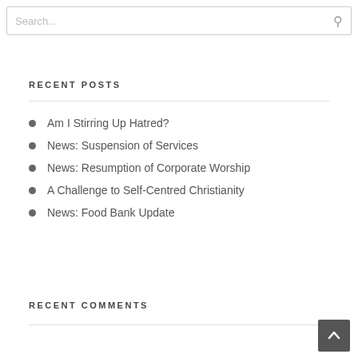Search...
RECENT POSTS
Am I Stirring Up Hatred?
News: Suspension of Services
News: Resumption of Corporate Worship
A Challenge to Self-Centred Christianity
News: Food Bank Update
RECENT COMMENTS